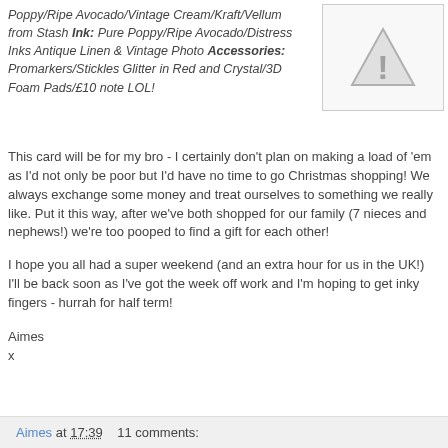Poppy/Ripe Avocado/Vintage Cream/Kraft/Vellum from Stash Ink: Pure Poppy/Ripe Avocado/Distress Inks Antique Linen & Vintage Photo Accessories: Promarkers/Stickles Glitter in Red and Crystal/3D Foam Pads/£10 note LOL!
[Figure (illustration): Warning triangle icon (exclamation mark in triangle) in grey tones inside a bordered box]
This card will be for my bro - I certainly don't plan on making a load of 'em as I'd not only be poor but I'd have no time to go Christmas shopping! We always exchange some money and treat ourselves to something we really like. Put it this way, after we've both shopped for our family (7 nieces and nephews!) we're too pooped to find a gift for each other!
I hope you all had a super weekend (and an extra hour for us in the UK!) I'll be back soon as I've got the week off work and I'm hoping to get inky fingers - hurrah for half term!
Aimes
x
Aimes at 17:39    11 comments: